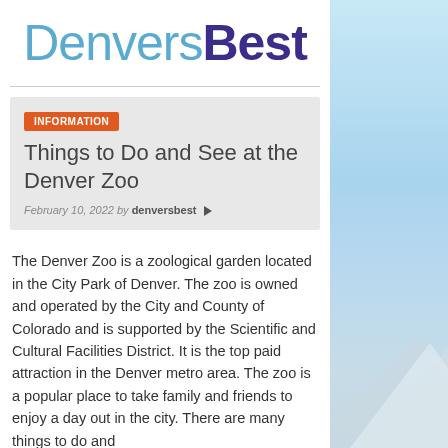DenversBest
INFORMATION
Things to Do and See at the Denver Zoo
February 10, 2022 by denversbest
The Denver Zoo is a zoological garden located in the City Park of Denver. The zoo is owned and operated by the City and County of Colorado and is supported by the Scientific and Cultural Facilities District. It is the top paid attraction in the Denver metro area. The zoo is a popular place to take family and friends to enjoy a day out in the city. There are many things to do and